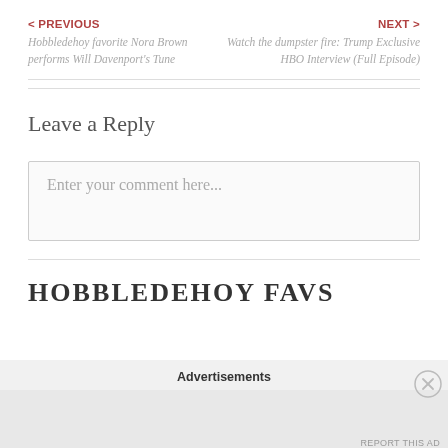< PREVIOUS
Hobbledehoy favorite Nora Brown performs Will Davenport's Tune
NEXT >
Watch the dumpster fire: Trump Exclusive HBO Interview (Full Episode)
Leave a Reply
Enter your comment here...
HOBBLEDEHOY FAVS
Advertisements
REPORT THIS AD